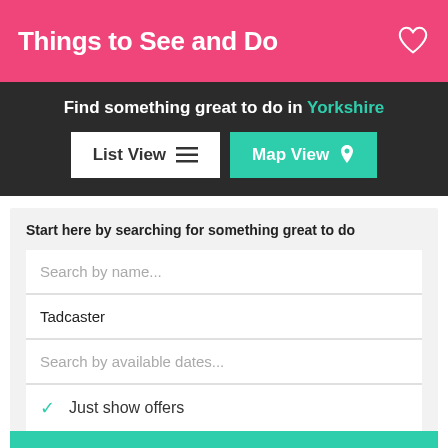Things to See and Do
Find something great to do in Yorkshire
List View   Map View
Start here by searching for something great to do
Search by name...
Tadcaster
Search by available dates...
Just show offers